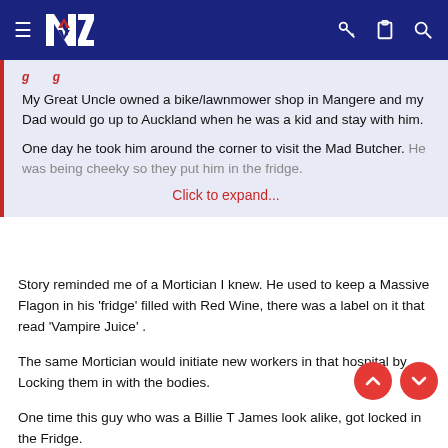NZ navigation bar with logo, hamburger menu, key, clipboard, and search icons
My Great Uncle owned a bike/lawnmower shop in Mangere and my Dad would go up to Auckland when he was a kid and stay with him.

One day he took him around the corner to visit the Mad Butcher. He was being cheeky so they put him in the fridge.
Click to expand...
Story reminded me of a Mortician I knew. He used to keep a Massive Flagon in his 'fridge' filled with Red Wine, there was a label on it that read 'Vampire Juice' .
The same Mortician would initiate new workers in that hospital by Locking them in with the bodies.
One time this guy who was a Billie T James look alike, got locked in the Fridge.